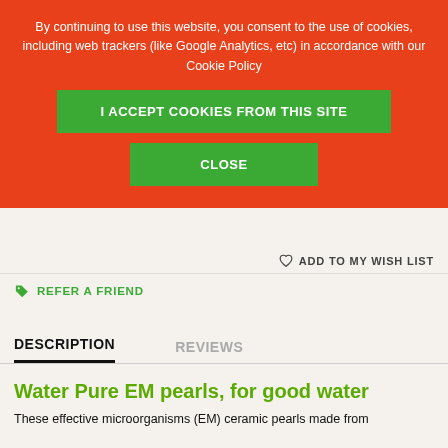By continuing to use this website, you consent to the use of cookies, including web trackers (like Google Analytics, etc) in accordance with our Cookie Policy
I ACCEPT COOKIES FROM THIS SITE
CLOSE
♡ ADD TO MY WISH LIST
🏷 REFER A FRIEND
DESCRIPTION
REVIEWS
Water Pure EM pearls, for good water
These effective microorganisms (EM) ceramic pearls made from